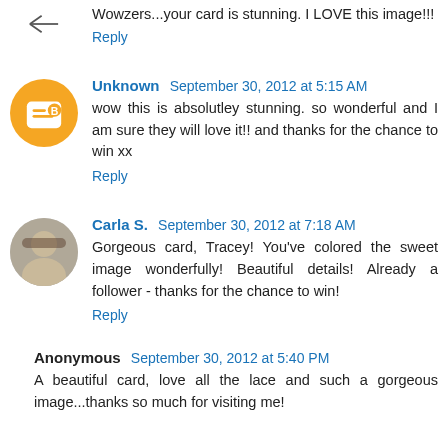Wowzers...your card is stunning. I LOVE this image!!!
Reply
Unknown  September 30, 2012 at 5:15 AM
wow this is absolutley stunning. so wonderful and I am sure they will love it!! and thanks for the chance to win xx
Reply
Carla S.  September 30, 2012 at 7:18 AM
Gorgeous card, Tracey! You've colored the sweet image wonderfully! Beautiful details! Already a follower - thanks for the chance to win!
Reply
Anonymous  September 30, 2012 at 5:40 PM
A beautiful card, love all the lace and such a gorgeous image...thanks so much for visiting me!